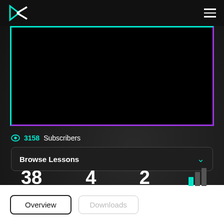[Figure (screenshot): Dark themed app header with K logo on left and hamburger menu on right]
[Figure (screenshot): Video preview box with cyan-to-purple gradient border on black background]
3158 Subscribers
Browse Lessons
38 LESSONS
4 HOURS
2 FILES
LEVEL
Overview
Downloads